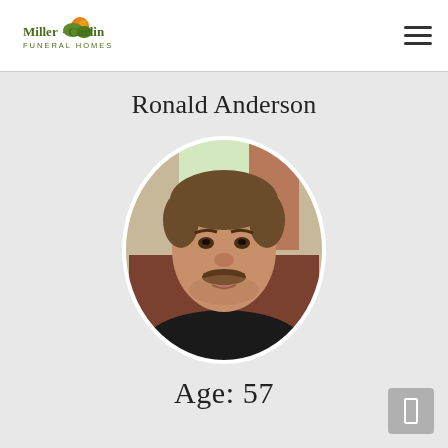Miller Carlin Funeral Homes
Ronald Anderson
[Figure (photo): Oval portrait photo of Ronald Anderson, a middle-aged man with a mustache, sitting in a recliner chair near a window]
Age: 57